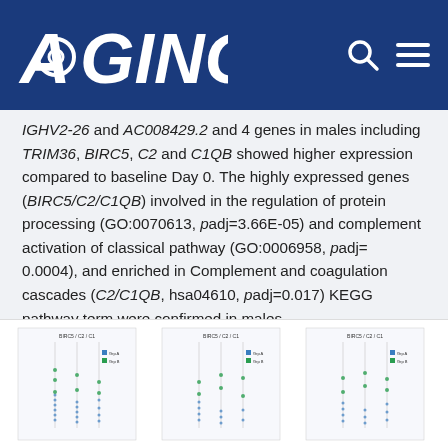AGING (logo header bar)
IGHV2-26 and AC008429.2 and 4 genes in males including TRIM36, BIRC5, C2 and C1QB showed higher expression compared to baseline Day 0. The highly expressed genes (BIRC5/C2/C1QB) involved in the regulation of protein processing (GO:0070613, padj=3.66E-05) and complement activation of classical pathway (GO:0006958, padj= 0.0004), and enriched in Complement and coagulation cascades (C2/C1QB, hsa04610, padj=0.017) KEGG pathway term were confirmed in males.
[Figure (other): Partial view of scatter plots or dot plots showing gene expression data across multiple panels]